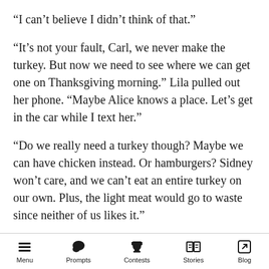“I can’t believe I didn’t think of that.”
“It’s not your fault, Carl, we never make the turkey. But now we need to see where we can get one on Thanksgiving morning.” Lila pulled out her phone. “Maybe Alice knows a place. Let’s get in the car while I text her.”
“Do we really need a turkey though? Maybe we can have chicken instead. Or hamburgers? Sidney won’t care, and we can’t eat an entire turkey on our own. Plus, the light meat would go to waste since neither of us likes it.”
“Sidney’s a baby. He wouldn’t care if we ate
Menu  Prompts  Contests  Stories  Blog